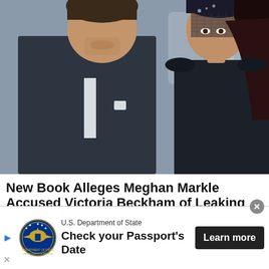[Figure (photo): David Beckham in a dark suit with tie and Victoria Beckham in a dark outfit with a net fascinator hat, photographed at what appears to be a formal event. Other people are visible in the background.]
New Book Alleges Meghan Markle Accused Victoria Beckham of Leaking Stories to th...
This apparently led to a tense phone call between Prince Harry and David Beckham.
Marie Claire
[Figure (photo): Partially visible second article photo strip, outdoors scene.]
[Figure (other): Advertisement banner: U.S. Department of State - Check your Passport's Date - Learn more button, with US Department of State seal logo.]